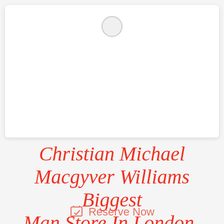[Figure (photo): A white card or label with a small circular icon at the top center, displayed against a light gray background]
Christian Michael Macgyver Williams Biggest Man Store In London-
Reserve Now